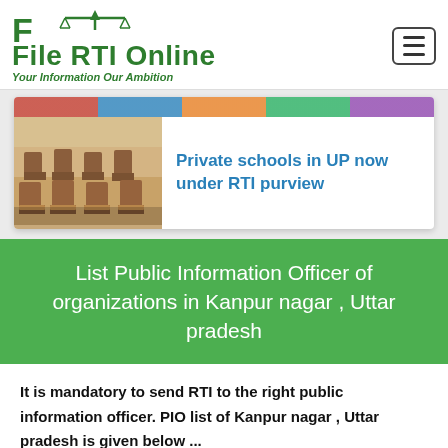[Figure (logo): File RTI Online logo with scales of justice icon and tagline 'Your Information Our Ambition' in green]
[Figure (photo): Classroom interior showing chairs and desks]
Private schools in UP now under RTI purview
List Public Information Officer of organizations in Kanpur nagar , Uttar pradesh
It is mandatory to send RTI to the right public information officer. PIO list of Kanpur nagar , Uttar pradesh is given below ...